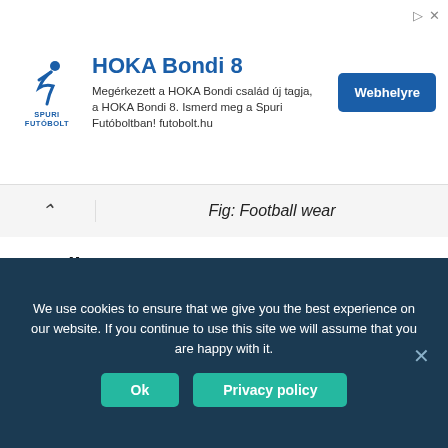[Figure (screenshot): Advertisement banner for HOKA Bondi 8 running shoes, showing Spuri Futóbolt logo, ad title, description in Hungarian, and a blue 'Webhelyre' button. Two icons (arrow and X) appear top-right.]
Fig: Football wear
Cycling Wear
Cycling wear is another simple and it should not be baggy at all. It should be flexible either because movement is going to be very hard. Apparel should be fitting and should not clam to the skin at all. Cycler should feel fresh and uncomfortable because of the rising body temperature.
We use cookies to ensure that we give you the best experience on our website. If you continue to use this site we will assume that you are happy with it.